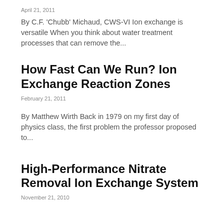April 21, 2011
By C.F. 'Chubb' Michaud, CWS-VI Ion exchange is versatile When you think about water treatment processes that can remove the...
How Fast Can We Run? Ion Exchange Reaction Zones
February 21, 2011
By Matthew Wirth Back in 1979 on my first day of physics class, the first problem the professor proposed to...
High-Performance Nitrate Removal Ion Exchange System
November 21, 2010